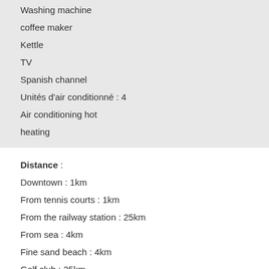Washing machine
coffee maker
Kettle
TV
Spanish channel
Unités d'air conditionné : 4
Air conditioning hot
heating
Distance :
Downtown : 1km
From tennis courts : 1km
From the railway station : 25km
From sea : 4km
Fine sand beach : 4km
Golf club : 25km
Nearest amusement park : 25
Supermarket : 500m
Shops : 1km
Restaurant : 1km